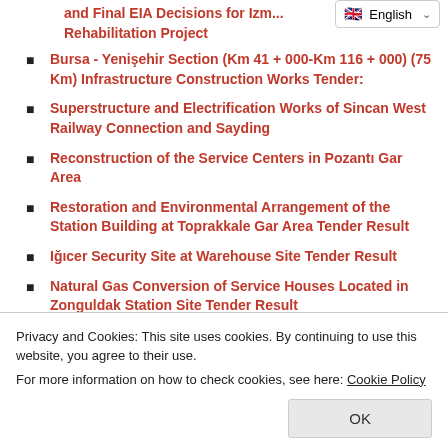and Final EIA Decisions for Izm... Rehabilitation Project
Bursa - Yenişehir Section (Km 41 + 000-Km 116 + 000) (75 Km) Infrastructure Construction Works Tender:
Superstructure and Electrification Works of Sincan West Railway Connection and Sayding
Reconstruction of the Service Centers in Pozantı Gar Area
Restoration and Environmental Arrangement of the Station Building at Toprakkale Gar Area Tender Result
Iğıcer Security Site at Warehouse Site Tender Result
Natural Gas Conversion of Service Houses Located in Zonguldak Station Site Tender Result
Privacy and Cookies: This site uses cookies. By continuing to use this website, you agree to their use.
For more information on how to check cookies, see here: Cookie Policy